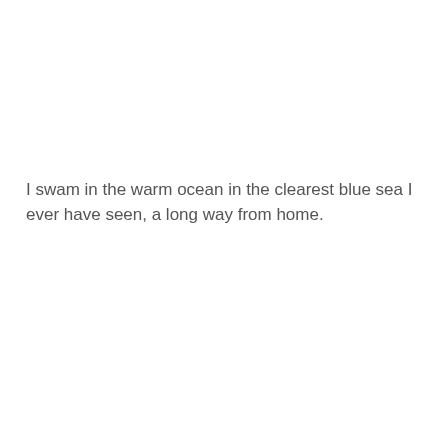I swam in the warm ocean in the clearest blue sea I ever have seen, a long way from home.